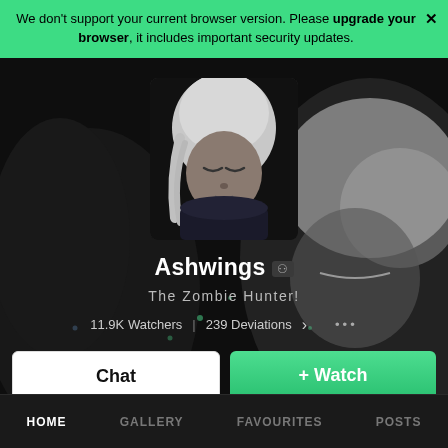We don't support your current browser version. Please upgrade your browser, it includes important security updates.
[Figure (illustration): Dark artwork background showing an illustrated anime-style character with white/silver hair on a black background, used as profile cover art. A second, larger figure with white hair and closed eyes occupies the right portion.]
[Figure (illustration): Square avatar/profile picture showing an anime-style character with white hair and a dark scarf, looking downward, with a dark background.]
Ashwings
The Zombie Hunter!
11.9K Watchers  |  239 Deviations
Chat
+ Watch
HOME   GALLERY   FAVOURITES   POSTS